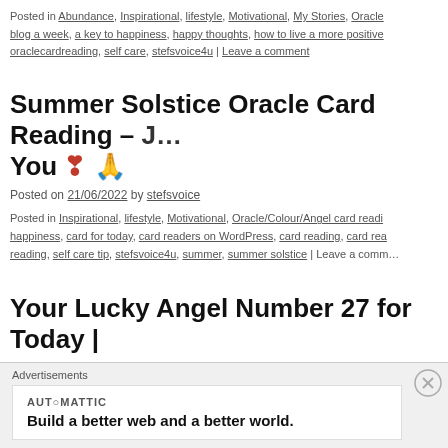Posted in Abundance, Inspirational, lifestyle, Motivational, My Stories, Oracle… blog a week, a key to happiness, happy thoughts, how to live a more positive… oraclecardreading, self care, stefsvoice4u | Leave a comment
Summer Solstice Oracle Card Reading – … You ❣ 🙏
Posted on 21/06/2022 by stefsvoice
Posted in Inspirational, lifestyle, Motivational, Oracle/Colour/Angel card readi… happiness, card for today, card readers on WordPress, card reading, card rea… reading, self care tip, stefsvoice4u, summer, summer solstice | Leave a comm…
Your Lucky Angel Number 27 for Today |…
Posted on 27/05/2022 by stefsvoice
Posted in Inspirational, lifestyle, Motivational, Oracle/Colour/Angel card…
Advertisements
[Figure (other): Automattic advertisement box: logo 'AUTOMATTIC' and text 'Build a better web and a better world.' on white background]